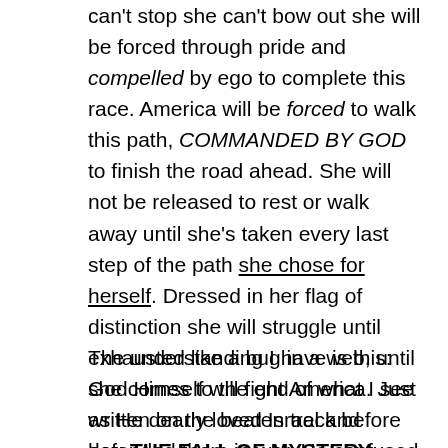can't stop she can't bow out she will be forced through pride and compelled by ego to complete this race. America will be forced to walk this path, COMMANDED BY GOD to finish the road ahead. She will not be released to rest or walk away until she's taken every last step of the path she chose for herself. Dressed in her flag of distinction she will struggle until exhausted like a bug in a web, until she comes to the end of what I see written on the beaten track before her: THE FALL OF MYSTERY BABYLON.
The understanding I have is this: God Himself will fight America. Just as He dearly loved Israel and defended them in war, He confused their enemies on the battlefield and made men stab their own friends thinking they were enemy soldiers, so God fights for and defends the nations that love Him. But when Israel